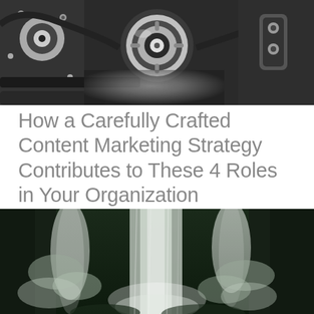[Figure (photo): Black and white close-up photo of a mechanical engine with alternator, belts, and chrome metallic parts]
How a Carefully Crafted Content Marketing Strategy Contributes to These 4 Roles in Your Organization
[Figure (photo): Black and white photo of a waterfall with misty water flowing over rocks in a dark background]